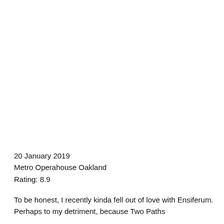20 January 2019
Metro Operahouse Oakland
Rating: 8.9
To be honest, I recently kinda fell out of love with Ensiferum. Perhaps to my detriment, because Two Paths